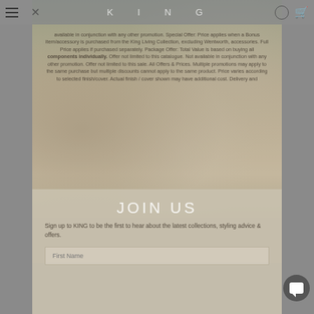KING
available in conjunction with any other promotion. Special Offer: Price applies when a Bonus item/accessory is purchased from the King Living Collection, excluding Wentworth, accessories. Full Price applies if purchased separately. Package Offer: Total Value is based on buying all components individually. Offer not limited to this catalogue. Not available in conjunction with any other promotion. Offer not limited to this sale. All Offers & Prices. Multiple promotions may apply to the same purchase but multiple discounts cannot apply to the same product. Price varies according to selected finish/cover. Actual finish / cover shown may have additional cost. Delivery and
JOIN US
Sign up to KING to be the first to hear about the latest collections, styling advice & offers.
[Figure (photo): Living room with sofa set, armchair, coffee table, stone wall fireplace and outdoor view]
First Name